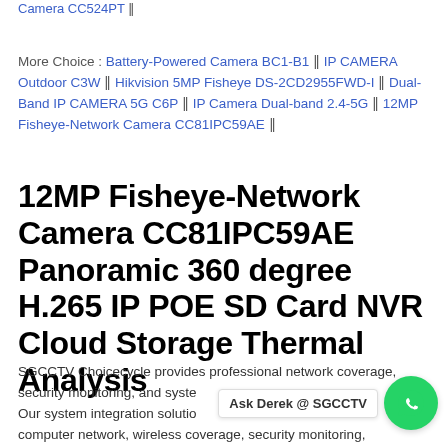Camera CC524PT ‖
More Choice : Battery-Powered Camera BC1-B1 ‖ IP CAMERA Outdoor C3W ‖ Hikvision 5MP Fisheye DS-2CD2955FWD-I ‖ Dual-Band IP CAMERA 5G C6P ‖ IP Camera Dual-band 2.4-5G ‖ 12MP Fisheye-Network Camera CC81IPC59AE ‖
12MP Fisheye-Network Camera CC81IPC59AE Panoramic 360 degree H.265 IP POE SD Card NVR Cloud Storage Thermal Analysis
SGCCTV Choicecycle provides professional network coverage, security monitoring, and system integration services. Our system integration solutions include engineering WiFi, computer network, wireless coverage, security monitoring, access control and attendance, public broadcasting, smart parking, alarm, conference, telephone, TV, wireless intercom,